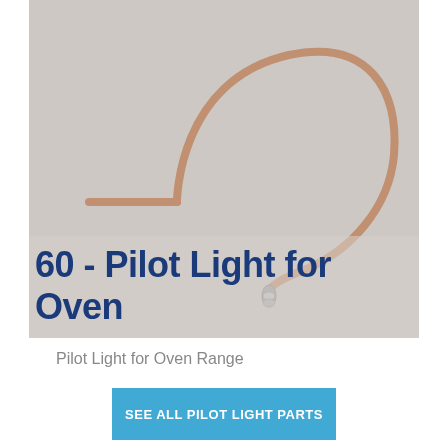[Figure (photo): Photo of a copper/metallic pilot light tube (hook-shaped) lying on a gray surface. Overlaid text at the bottom reads '60 - Pilot Light for Oven' in bold dark blue large font.]
Pilot Light for Oven Range
SEE ALL PILOT LIGHT PARTS